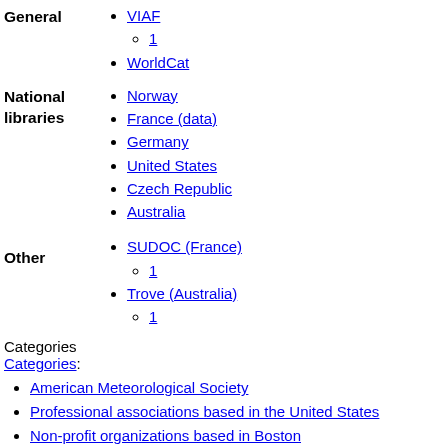General
VIAF
1
WorldCat
National libraries
Norway
France (data)
Germany
United States
Czech Republic
Australia
Other
SUDOC (France)
1
Trove (Australia)
1
Categories
Categories:
American Meteorological Society
Professional associations based in the United States
Non-profit organizations based in Boston
1919 establishments in the United States
Scientific organizations established in 1919